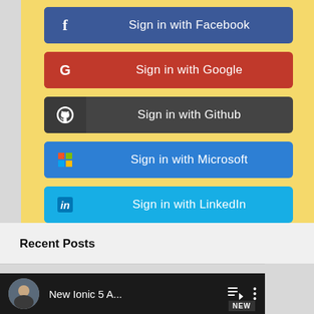[Figure (screenshot): Sign-in buttons section on yellow background: Sign in with Facebook (blue), Sign in with Google (red), Sign in with Github (dark gray), Sign in with Microsoft (blue), Sign in with LinkedIn (light blue)]
Recent Posts
[Figure (screenshot): YouTube video thumbnail showing a person, title 'New Ionic 5 A...', queue and more icons, NEW badge, Ionic logo partially visible]